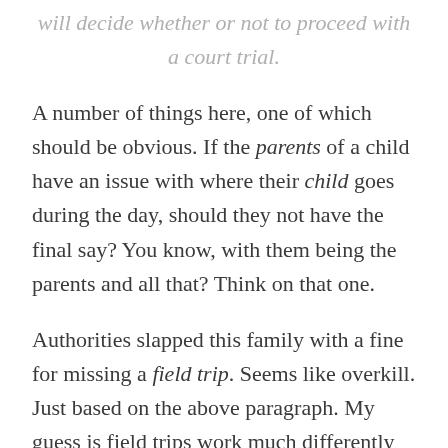will decide whether or not to proceed with a court trial.
A number of things here, one of which should be obvious. If the parents of a child have an issue with where their child goes during the day, should they not have the final say? You know, with them being the parents and all that? Think on that one.
Authorities slapped this family with a fine for missing a field trip. Seems like overkill. Just based on the above paragraph. My guess is field trips work much differently in Germany than in America. Less fun and more fascism.
One can't help but suspect that a single missed